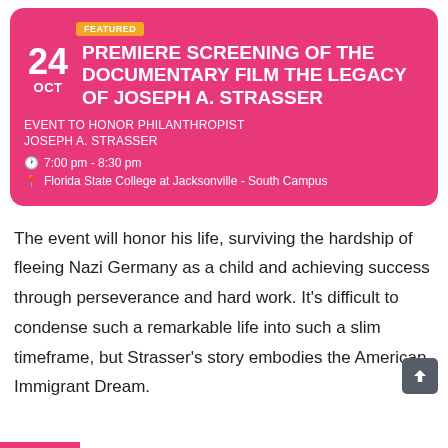PREMIERE SCREENING OF THE DOCUMENTARY FILM THE LEGACY OF JOSEPH A. STRASSER
EVENT TO HONOR PHILANTHROPIST JOSEPH A. STRASSER
7:00 pm - 8:30 pm
Florida State College at Jacksonville - South Campus
The event will honor his life, surviving the hardship of fleeing Nazi Germany as a child and achieving success through perseverance and hard work. It’s difficult to condense such a remarkable life into such a slim timeframe, but Strasser’s story embodies the American Immigrant Dream.